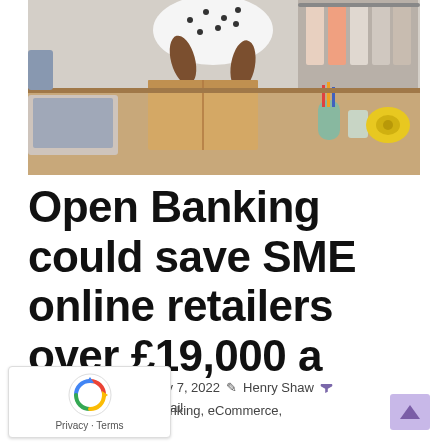[Figure (photo): Person packing items into a cardboard box in a retail workspace with clothes rack, desk with supplies, and tape dispenser visible]
Open Banking could save SME online retailers over £19,000 a month
January 7, 2022   Henry Shaw   banking, eCommerce, retail